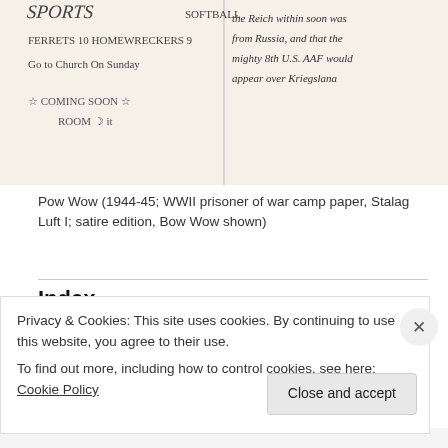[Figure (photo): Photograph of a handwritten newspaper page titled 'Sports Softball', showing text like 'Ferrets 10 Homewreckers 9', 'Go to Church on Sunday', 'Coming Soon Room', with stars and moon doodles, and cursive handwriting on the right side mentioning 'the Reich within soon was from Russia' and 'mighty 8th U.S. AAF would appear over Kriegslana'.]
Pow Wow (1944-45; WWII prisoner of war camp paper, Stalag Luft I; satire edition, Bow Wow shown)
Index
059 B.C.
1700
Privacy & Cookies: This site uses cookies. By continuing to use this website, you agree to their use.
To find out more, including how to control cookies, see here: Cookie Policy